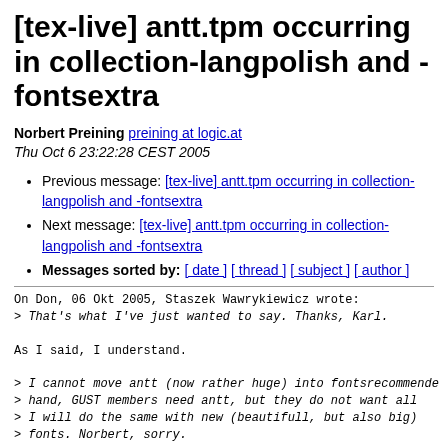[tex-live] antt.tpm occurring in collection-langpolish and -fontsextra
Norbert Preining preining at logic.at
Thu Oct 6 23:22:28 CEST 2005
Previous message: [tex-live] antt.tpm occurring in collection-langpolish and -fontsextra
Next message: [tex-live] antt.tpm occurring in collection-langpolish and -fontsextra
Messages sorted by: [ date ] [ thread ] [ subject ] [ author ]
On Don, 06 Okt 2005, Staszek Wawrykiewicz wrote:
> That's what I've just wanted to say. Thanks, Karl.

As I said, I understand.

> I cannot move antt (now rather huge) into fontsrecommende
> hand, GUST members need antt, but they do not want all
> I will do the same with new (beautifull, but also big)
> fonts. Norbert, sorry.